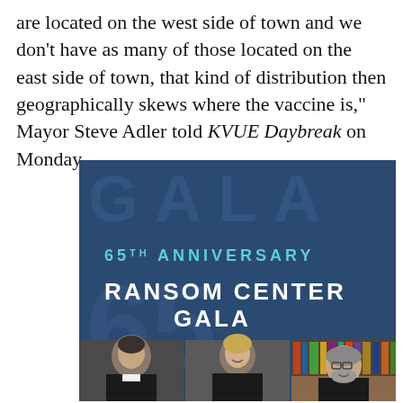are located on the west side of town and we don't have as many of those located on the east side of town, that kind of distribution then geographically skews where the vaccine is," Mayor Steve Adler told KVUE Daybreak on Monday.
[Figure (illustration): Ransom Center Gala promotional image showing '65th Anniversary Ransom Center Gala' text on dark blue background with three portrait photos of attendees (an older man in dark suit, a woman smiling, and a man with glasses in front of bookshelves) and large watermark letters 'GALA' at top.]